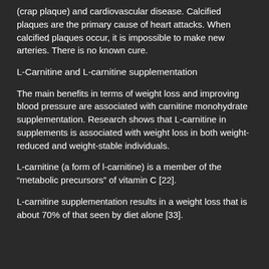(crap plaque) and cardiovascular disease. Calcified plaques are the primary cause of heart attacks. When calcified plaques occur, it is impossible to make new arteries. There is no known cure.
L-Carnitine and L-carnitine supplementation
The main benefits in terms of weight loss and improving blood pressure are associated with carnitine monohydrate supplementation. Research shows that L-carnitine in supplements is associated with weight loss in both weight-reduced and weight-stable individuals.
L-carnitine (a form of l-carnitine) is a member of the “metabolic precursors” of vitamin C [22].
L-carnitine supplementation results in a weight loss that is about 70% of that seen by diet alone [33].